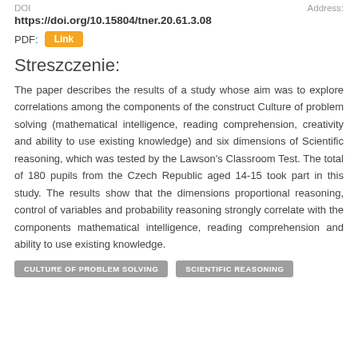DOI     Address:
https://doi.org/10.15804/tner.20.61.3.08
PDF: Link
Streszczenie:
The paper describes the results of a study whose aim was to explore correlations among the components of the construct Culture of problem solving (mathematical intelligence, reading comprehension, creativity and ability to use existing knowledge) and six dimensions of Scientific reasoning, which was tested by the Lawson's Classroom Test. The total of 180 pupils from the Czech Republic aged 14-15 took part in this study. The results show that the dimensions proportional reasoning, control of variables and probability reasoning strongly correlate with the components mathematical intelligence, reading comprehension and ability to use existing knowledge.
CULTURE OF PROBLEM SOLVING
SCIENTIFIC REASONING